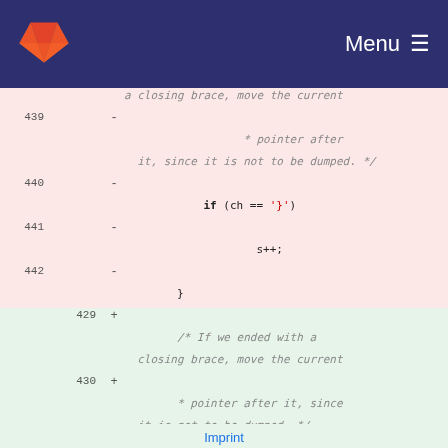Menu
439 - a closing brace, move the current
          * pointer after
 it, since it is not to be dumped. */
440 -
          if (ch == '}')
441 -
                    s++;
442 -
          }
429 + /* If we ended with a
 closing brace, move the current
430 +  * pointer after it, since
 it is not to be dumped. */
431 + if (ch == '}')
432 + s++;